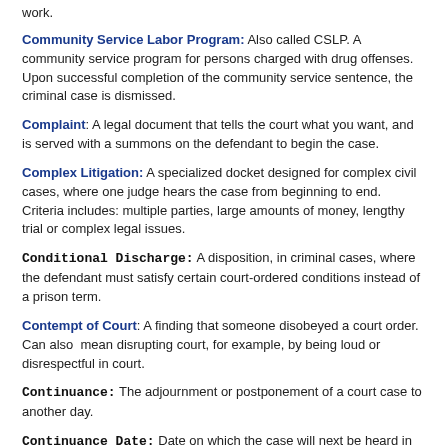work.
Community Service Labor Program: Also called CSLP. A community service program for persons charged with drug offenses. Upon successful completion of the community service sentence, the criminal case is dismissed.
Complaint: A legal document that tells the court what you want, and is served with a summons on the defendant to begin the case.
Complex Litigation: A specialized docket designed for complex civil cases, where one judge hears the case from beginning to end. Criteria includes: multiple parties, large amounts of money, lengthy trial or complex legal issues.
Conditional Discharge: A disposition, in criminal cases, where the defendant must satisfy certain court-ordered conditions instead of a prison term.
Contempt of Court: A finding that someone disobeyed a court order. Can also mean disrupting court, for example, by being loud or disrespectful in court.
Continuance: The adjournment or postponement of a court case to another day.
Continuance Date: Date on which the case will next be heard in court.
Contract: A legally enforceable agreement between two or more persons or parties.